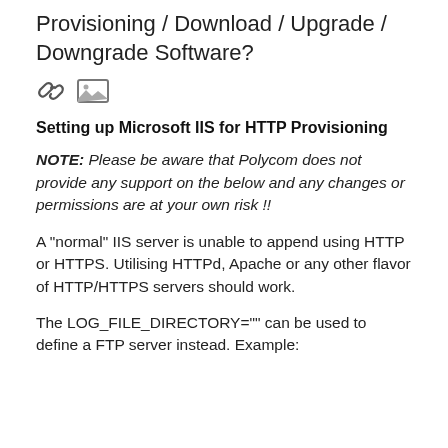Provisioning / Download / Upgrade / Downgrade Software?
[Figure (other): Two icons: a chain link icon and an image/photo icon]
Setting up Microsoft IIS for HTTP Provisioning
NOTE: Please be aware that Polycom does not provide any support on the below and any changes or permissions are at your own risk !!
A "normal" IIS server is unable to append using HTTP or HTTPS. Utilising HTTPd, Apache or any other flavor of HTTP/HTTPS servers should work.
The LOG_FILE_DIRECTORY="" can be used to define a FTP server instead. Example: